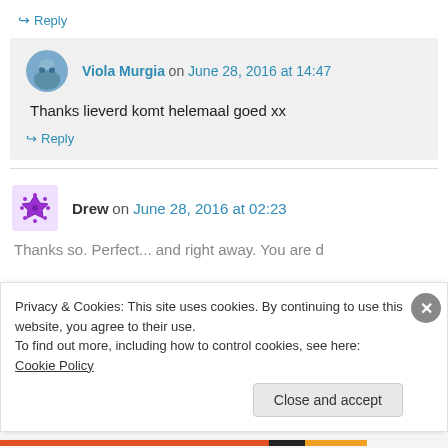↪ Reply
Viola Murgia on June 28, 2016 at 14:47
Thanks lieverd komt helemaal goed xx
↪ Reply
Drew on June 28, 2016 at 02:23
Thanks so. Perfect... and right away. You are d
Privacy & Cookies: This site uses cookies. By continuing to use this website, you agree to their use. To find out more, including how to control cookies, see here: Cookie Policy
Close and accept